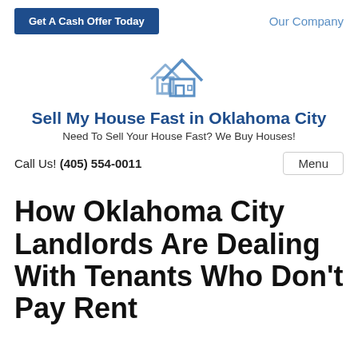Get A Cash Offer Today   Our Company
[Figure (logo): Two overlapping house outlines icon in blue/steel color, representing a real estate company logo]
Sell My House Fast in Oklahoma City
Need To Sell Your House Fast? We Buy Houses!
Call Us! (405) 554-0011   Menu
How Oklahoma City Landlords Are Dealing With Tenants Who Don't Pay Rent